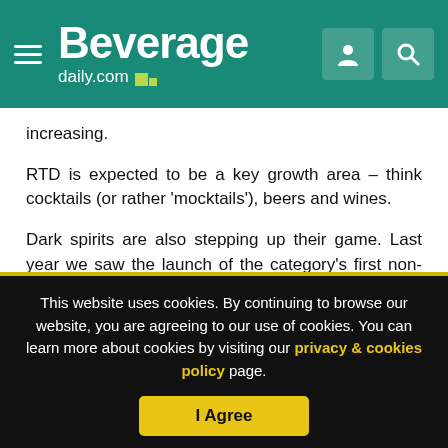Beverage daily.com
increasing.
RTD is expected to be a key growth area – think cocktails (or rather 'mocktails'), beers and wines.
Dark spirits are also stepping up their game. Last year we saw the launch of the category's first non-alcoholic dark spirit and all indications are there's more to come, with news of a rum-inspired low and no offering on the cards.
This website uses cookies. By continuing to browse our website, you are agreeing to our use of cookies. You can learn more about cookies by visiting our privacy & cookies policy page.